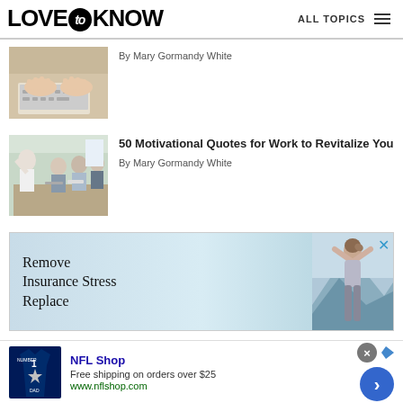LOVE to KNOW — ALL TOPICS
[Figure (photo): Hands typing on a laptop keyboard]
By Mary Gormandy White
[Figure (photo): Group of people at a work meeting, one person standing with arm raised]
50 Motivational Quotes for Work to Revitalize You
By Mary Gormandy White
[Figure (photo): Advertisement: Remove Insurance Stress Replace — showing a person with arms raised against a mountain backdrop]
[Figure (photo): Bottom advertisement: NFL Shop — Free shipping on orders over $25, www.nflshop.com, showing a Dallas Cowboys jersey]